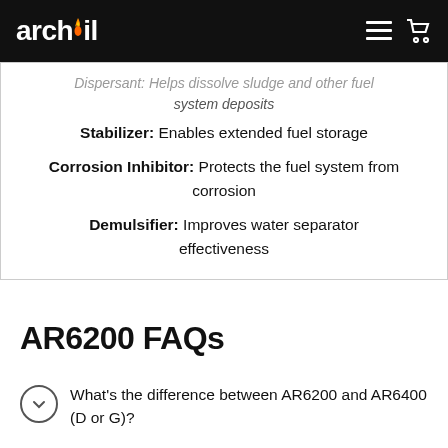archoil
Dispersant: Helps dissolve sludge and other fuel system deposits
Stabilizer: Enables extended fuel storage
Corrosion Inhibitor: Protects the fuel system from corrosion
Demulsifier: Improves water separator effectiveness
AR6200 FAQs
What's the difference between AR6200 and AR6400 (D or G)?